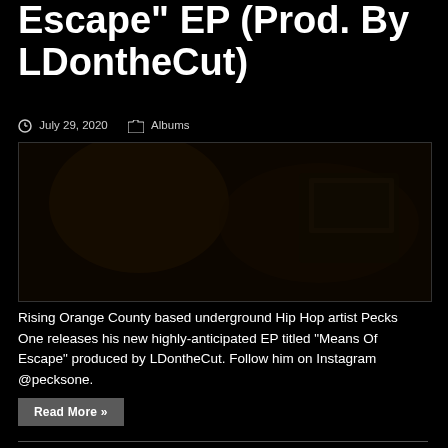Escape" EP (Prod. By LDontheCut)
July 29, 2020   Albums
[Figure (photo): Dark photo of a person in a music studio environment with mixing equipment visible, very dark/underexposed image with warm orange tones]
Rising Orange County based underground Hip Hop artist Pecks One releases his new highly-anticipated EP titled “Means Of Escape” produced by LDontheCut.  Follow him on Instagram @pecksone.
Read More »